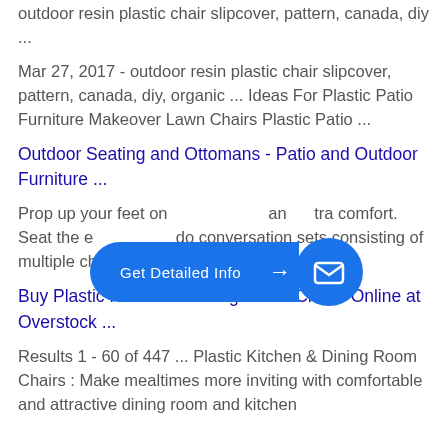outdoor resin plastic chair slipcover, pattern, canada, diy ...
Mar 27, 2017 - outdoor resin plastic chair slipcover, pattern, canada, diy, organic ... Ideas For Plastic Patio Furniture Makeover Lawn Chairs Plastic Patio ...
Outdoor Seating and Ottomans - Patio and Outdoor Furniture ...
Prop up your feet on an ottoman and extra comfort. Seat the entire family in outdoor conversation sets consisting of multiple chairs and a table for ...
[Figure (other): Blue CTA button overlay with 'Get Detailed Info' text and email icon]
Buy Plastic Kitchen & Dining Room Chairs Online at Overstock ...
Results 1 - 60 of 447 ... Plastic Kitchen & Dining Room Chairs : Make mealtimes more inviting with comfortable and attractive dining room and kitchen